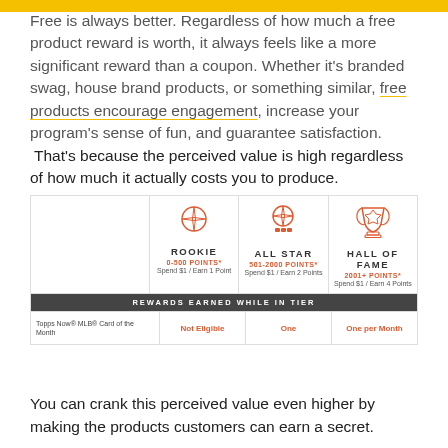Free is always better. Regardless of how much a free product reward is worth, it always feels like a more significant reward than a coupon.  Whether it's branded swag, house brand products, or something similar, free products encourage engagement, increase your program's sense of fun, and guarantee satisfaction.  That's because the perceived value is high regardless of how much it actually costs you to produce.
[Figure (infographic): Topps loyalty tier infographic showing three tiers: Rookie (0-500 Points, Spend $1/Earn 1 Point), All Star (501-2000 Points, Spend $1/Earn 2 Points), Hall of Fame (2001+ Points, Spend $1/Earn 4 Points). Rewards earned while in tier row shows Topps Now MLB Card of the Month: Not Eligible, One, One per Month.]
You can crank this perceived value even higher by making the products customers can earn a secret.